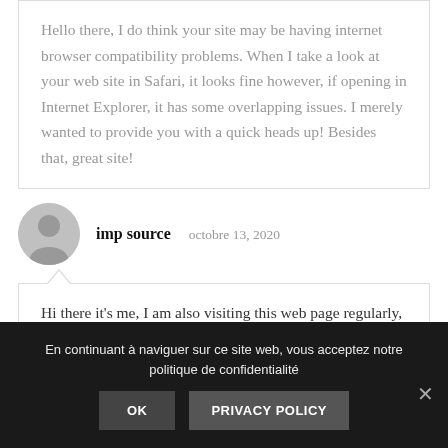Hello there, I do think your site may be having internet browser compatibility problems. When I take a look at your web site in Safari, it looks fine however, if opening in Internet Explorer, it has some overlapping issues. I merely wanted to provide you with a quick heads up! Besides that, great site!
imp source   octobre 13, 2020
Hi there it’s me, I am also visiting this web page regularly, this site is truly nice and the users are truly sharing pleasant thoughts.
En continuant à naviguer sur ce site web, vous acceptez notre politique de confidentialité
OK   PRIVACY POLICY